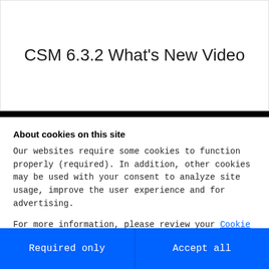CSM 6.3.2 What’s New Video
[Figure (screenshot): Black video player bar partially visible below title area]
About cookies on this site
Our websites require some cookies to function properly (required). In addition, other cookies may be used with your consent to analyze site usage, improve the user experience and for advertising.

For more information, please review your Cookie preferences options and IBM’s privacy statement.
Required only
Accept all